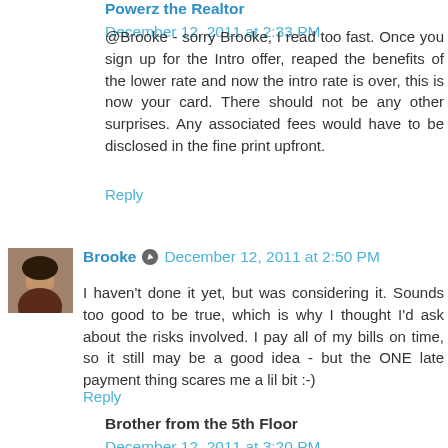Powerz the Realtor December 12, 2011 at 2:33 PM
@Brooke - sorry Brooke, I read too fast. Once you sign up for the Intro offer, reaped the benefits of the lower rate and now the intro rate is over, this is now your card. There should not be any other surprises. Any associated fees would have to be disclosed in the fine print upfront.
Reply
Brooke December 12, 2011 at 2:50 PM
I haven't done it yet, but was considering it. Sounds too good to be true, which is why I thought I'd ask about the risks involved. I pay all of my bills on time, so it still may be a good idea - but the ONE late payment thing scares me a lil bit :-)
Reply
Brother from the 5th Floor December 12, 2011 at 3:20 PM
Let me Borrow some money!!